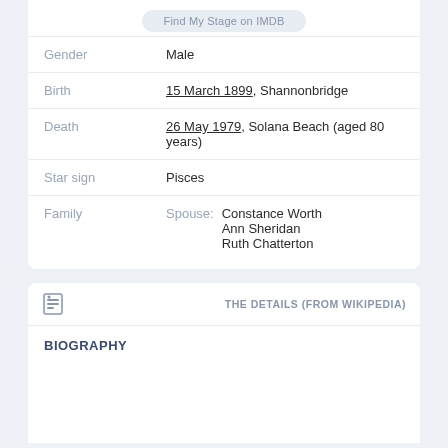Find My Stage on IMDB
| Field | Value |
| --- | --- |
| Gender | Male |
| Birth | 15 March 1899, Shannonbridge |
| Death | 26 May 1979, Solana Beach (aged 80 years) |
| Star sign | Pisces |
| Family | Spouse: Constance Worth / Ann Sheridan / Ruth Chatterton |
THE DETAILS (FROM WIKIPEDIA)
BIOGRAPHY